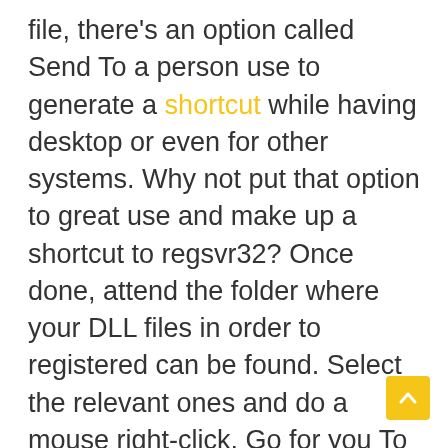file, there's an option called Send To a person use to generate a shortcut while having desktop or even for other systems. Why not put that option to great use and make up a shortcut to regsvr32? Once done, attend the folder where your DLL files in order to registered can be found. Select the relevant ones and do a mouse right-click. Go for you To and choose the regsvr32 shortcut. In two shakes of a tail, you're done.